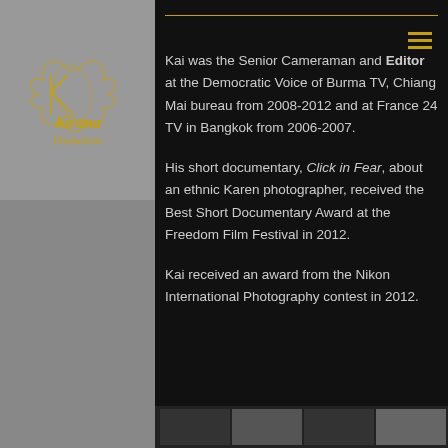[Figure (logo): Kirana Productions logo in gold/orange script on gray background]
Kai was the Senior Cameraman and Editor at the Democratic Voice of Burma TV, Chiang Mai bureau from 2008-2012 and at France 24 TV in Bangkok from 2006-2007.
His short documentary, Click in Fear, about an ethnic Karen photographer, received the Best Short Documentary Award at the Freedom Film Festival in 2012.
Kai received an award from the Nikon International Photography contest in 2012.
[Figure (photo): Film strip / thumbnail images at the bottom of the page]